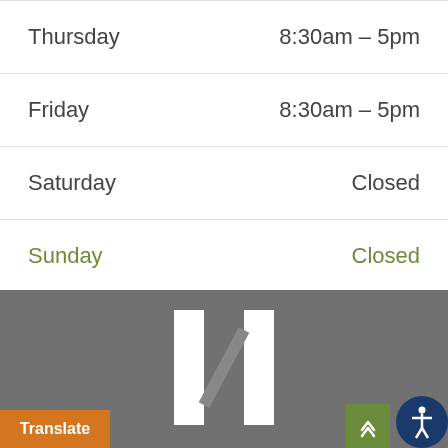Thursday   8:30am – 5pm
Friday   8:30am – 5pm
Saturday   Closed
Sunday   Closed
[Figure (logo): Stylized H logo in white on grey background]
Translate | scroll up | accessibility button